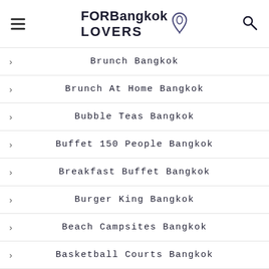FOR Bangkok LOVERS
Brunch Bangkok
Brunch At Home Bangkok
Bubble Teas Bangkok
Buffet 150 People Bangkok
Breakfast Buffet Bangkok
Burger King Bangkok
Beach Campsites Bangkok
Basketball Courts Bangkok